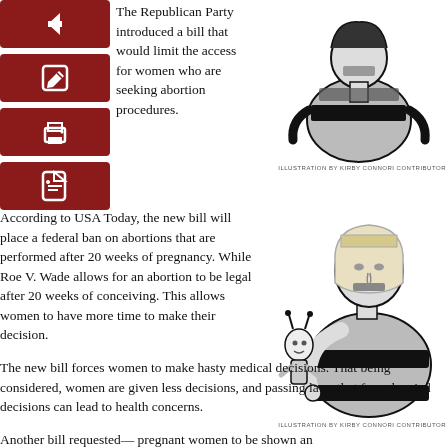[Figure (illustration): Illustration of a woman bound with tape across her body, viewed from behind/side, black and white drawing]
ILLUSTRATION BY KIRBY CONNORI CONTRIBUTOR
[Figure (illustration): Illustration of a woman with short blonde hair, mouth taped shut, holding a small alien/puppet figure. Black and white drawing.]
ILLUSTRATION BY KIRBY CONNORI CONTRIBUTOR
The Republican Party introduced a bill that would limit the access for women who are seeking abortion procedures.
According to USA Today, the new bill will place a federal ban on abortions that are performed after 20 weeks of pregnancy. While Roe V. Wade allows for an abortion to be legal after 20 weeks of conceiving. This allows women to have more time to make their decision.
The new bill forces women to make hasty medical decisions. That being considered, women are given less decisions, and passing laws that force hurried decisions can lead to health concerns.
Another bill requested–– pregnant women to be shown an